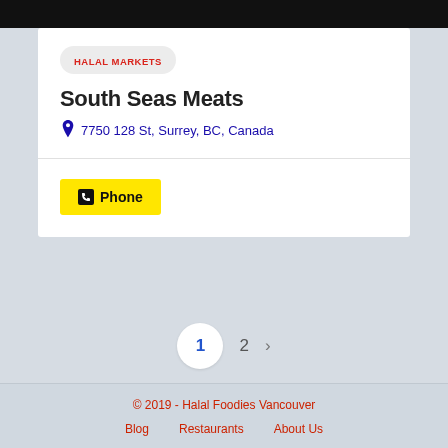[Figure (screenshot): Black header image strip at top of page]
HALAL MARKETS
South Seas Meats
7750 128 St, Surrey, BC, Canada
Phone
1  2  >
© 2019 - Halal Foodies Vancouver
Blog    Restaurants    About Us